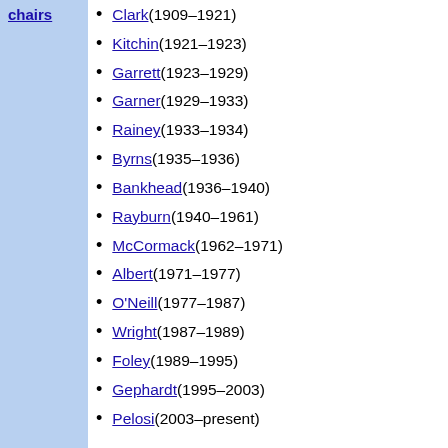chairs
Clark (1909–1921)
Kitchin (1921–1923)
Garrett (1923–1929)
Garner (1929–1933)
Rainey (1933–1934)
Byrns (1935–1936)
Bankhead (1936–1940)
Rayburn (1940–1961)
McCormack (1962–1971)
Albert (1971–1977)
O'Neill (1977–1987)
Wright (1987–1989)
Foley (1989–1995)
Gephardt (1995–2003)
Pelosi (2003–present)
J. W. Stevenson (1873–1877)
Wallace (1877–1881)
Pendleton (1881–1885)
Beck (1885–1890)
Gorman (1890–1898)
Turpie (1898–1899)
J. K. Jones (1899–1903)
Gorman (1903–1906)
Blackburn (1906–1907)